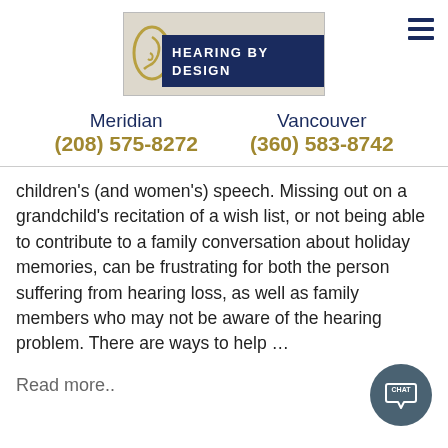[Figure (logo): Hearing By Design logo with ear graphic and dark blue banner text]
Meridian
(208) 575-8272
Vancouver
(360) 583-8742
children's (and women's) speech. Missing out on a grandchild's recitation of a wish list, or not being able to contribute to a family conversation about holiday memories, can be frustrating for both the person suffering from hearing loss, as well as family members who may not be aware of the hearing problem. There are ways to help …
Read more..
[Figure (illustration): Dark teal circular chat button with speech bubble icon and CHAT label]